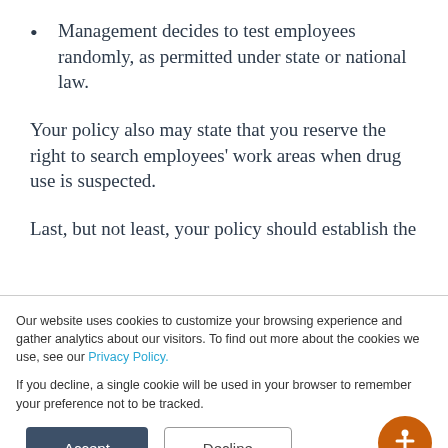Management decides to test employees randomly, as permitted under state or national law.
Your policy also may state that you reserve the right to search employees' work areas when drug use is suspected.
Last, but not least, your policy should establish the
Our website uses cookies to customize your browsing experience and gather analytics about our visitors. To find out more about the cookies we use, see our Privacy Policy.

If you decline, a single cookie will be used in your browser to remember your preference not to be tracked.